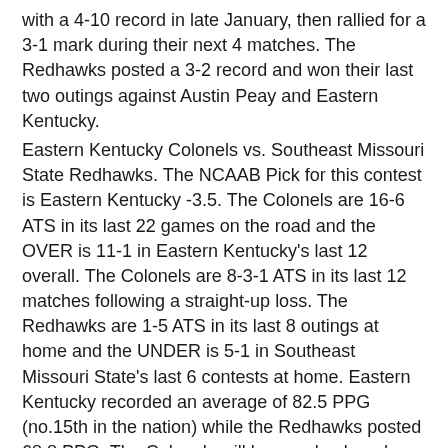with a 4-10 record in late January, then rallied for a 3-1 mark during their next 4 matches. The Redhawks posted a 3-2 record and won their last two outings against Austin Peay and Eastern Kentucky.
Eastern Kentucky Colonels vs. Southeast Missouri State Redhawks. The NCAAB Pick for this contest is Eastern Kentucky -3.5. The Colonels are 16-6 ATS in its last 22 games on the road and the OVER is 11-1 in Eastern Kentucky's last 12 overall. The Colonels are 8-3-1 ATS in its last 12 matches following a straight-up loss. The Redhawks are 1-5 ATS in its last 8 outings at home and the UNDER is 5-1 in Southeast Missouri State's last 6 contests at home. Eastern Kentucky recorded an average of 82.5 PPG (no.15th in the nation) while the Redhawks posted 68.8 PPG. The Colonels will bounce back and bring home the victory on Monday. Final score prediction, Eastern Kentucky Colonels will win at 77-73.
College Basketball Free Premium Picks Predictions. This week's entire college basketball premium pick predictions